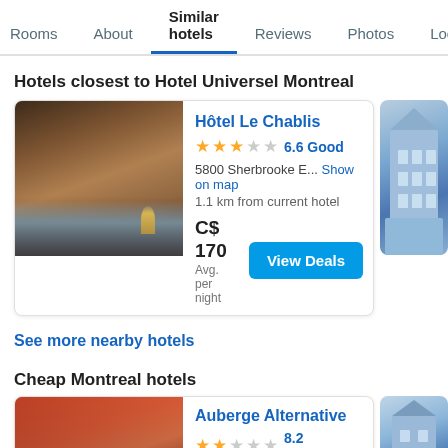Rooms | About | Similar hotels | Reviews | Photos | Loca...
Hotels closest to Hotel Universel Montreal
[Figure (photo): Hotel room photo for Hôtel Le Chablis]
Hôtel Le Chablis
★★★☆☆ 6.6 Good
5800 Sherbrooke E... Show on map
1.1 km from current hotel
C$ 170
Avg. per night
View Deals
[Figure (illustration): Partial blue building illustration on right side]
See more nearby hotels
Cheap Montreal hotels
[Figure (photo): Hotel room photo for Auberge Alternative]
Auberge Alternative
★★☆☆☆ 8.2 Excellent